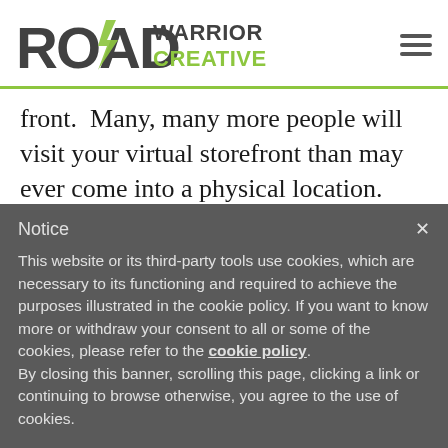[Figure (logo): Road Warrior Creative logo with stylized R/O containing a lightning bolt arrow, followed by 'WARRIOR CREATIVE' in two colors, and a hamburger menu icon on the right]
front.  Many, many more people will visit your virtual storefront than may ever come into a physical location.  Just as when choosing a physical you “get what you pay for,” the same goes for your
Notice
This website or its third-party tools use cookies, which are necessary to its functioning and required to achieve the purposes illustrated in the cookie policy. If you want to know more or withdraw your consent to all or some of the cookies, please refer to the cookie policy.
By closing this banner, scrolling this page, clicking a link or continuing to browse otherwise, you agree to the use of cookies.